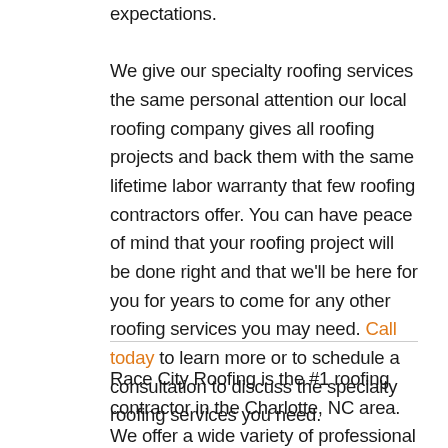expectations.

We give our specialty roofing services the same personal attention our local roofing company gives all roofing projects and back them with the same lifetime labor warranty that few roofing contractors offer. You can have peace of mind that your roofing project will be done right and that we'll be here for you for years to come for any other roofing services you may need. Call today to learn more or to schedule a consultation to discuss the specialty roofing services you need.
Race City Roofing is the #1 roofing contractor in the Charlotte, NC area. We offer a wide variety of professional & affordable roofing services including,